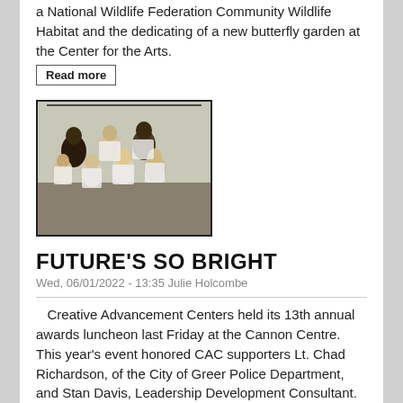a National Wildlife Federation Community Wildlife Habitat and the dedicating of a new butterfly garden at the Center for the Arts.
Read more
[Figure (photo): Group of children in white t-shirts standing together, possibly at a performance or event]
FUTURE'S SO BRIGHT
Wed, 06/01/2022 - 13:35 Julie Holcombe
Creative Advancement Centers held its 13th annual awards luncheon last Friday at the Cannon Centre. This year's event honored CAC supporters Lt. Chad Richardson, of the City of Greer Police Department, and Stan Davis, Leadership Development Consultant.
Read more
[Figure (photo): Partial view of another article's photo at bottom of page]